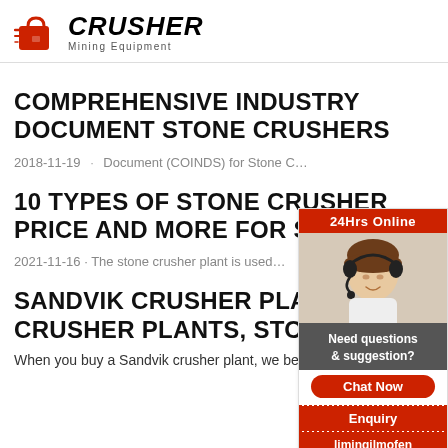[Figure (logo): Crusher Mining Equipment logo with red shopping bag icon and bold italic text]
COMPREHENSIVE INDUSTRY DOCUMENT STONE CRUSHERS
2018-11-19 · Document (COINDS) for Stone C…
10 TYPES OF STONE CRUSHER PRICE AND MORE FOR SALE …
2021-11-16 · The stone crusher plant is used…
SANDVIK CRUSHER PLANTS, R… CRUSHER PLANTS, STONE CRU…
When you buy a Sandvik crusher plant, we become your par…
[Figure (photo): Sidebar with 24Hrs Online label, photo of woman with headset, Need questions & suggestion? text, Chat Now button, Enquiry section, and limingjlmofen@sina.com email]